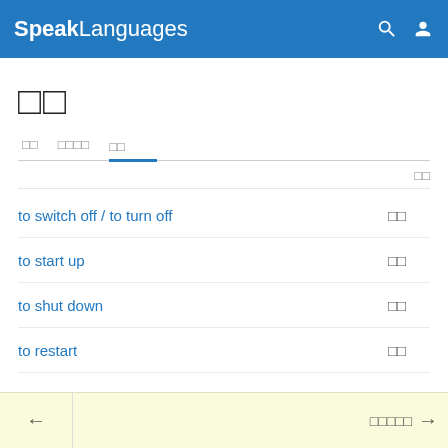SpeakLanguages
□□
□□  □□□□  □□
□□
to switch off / to turn off  □□
to start up  □□
to shut down  □□
to restart  □□
← □□□□□ →